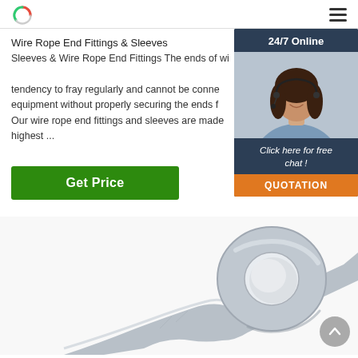Wire Rope End Fittings & Sleeves - website header with logo and hamburger menu
Wire Rope End Fittings & Sleeves
Sleeves & Wire Rope End Fittings The ends of wire ropes have a tendency to fray regularly and cannot be connected to equipment without properly securing the ends first. Our wire rope end fittings and sleeves are made to the highest ...
Get Price
[Figure (photo): Customer service representative woman with headset, smiling, with 24/7 Online chat widget overlay]
[Figure (photo): Close-up photo of a galvanized wire rope end fitting / eye thimble fitting made of metal]